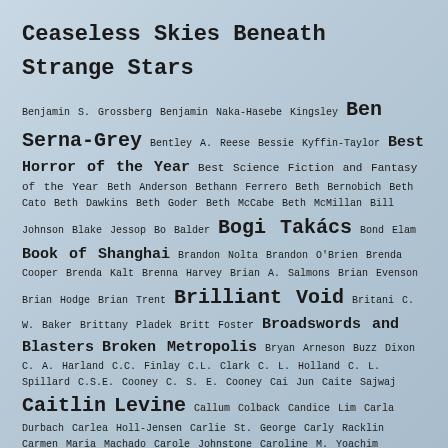Ceaseless Skies Beneath Strange Stars
Benjamin S. Grossberg Benjamin Naka-Hasebe Kingsley Ben Serna-Grey Bentley A. Reese Bessie Kyffin-Taylor Best Horror of the Year Best Science Fiction and Fantasy of the Year Beth Anderson Bethann Ferrero Beth Bernobich Beth Cato Beth Dawkins Beth Goder Beth McCabe Beth McMillan Bill Johnson Blake Jessop Bo Balder Bogi Takács Bond Elam Book of Shanghai Brandon Nolta Brandon O'Brien Brenda Cooper Brenda Kalt Brenna Harvey Brian A. Salmons Brian Evenson Brian Hodge Brian Trent Brilliant Void Britani C. W. Baker Brittany Pladek Britt Foster Broadswords and Blasters Broken Metropolis Bryan Arneson Buzz Dixon C. A. Harland C.C. Finlay C.L. Clark C. L. Holland C. L. Spillard C.S.E. Cooney C. S. E. Cooney Cai Jun Caite Sajwaj Caitlin Levine Callum Colback Candice Lim Carla Durbach Carlea Holl-Jensen Carlie St. George Carly Racklin Carmen Maria Machado Carole Johnstone Caroline M. Yoachim Caroline Sciriha Caroline Stahl Carol Scheina Carrie Cuinn Carrie